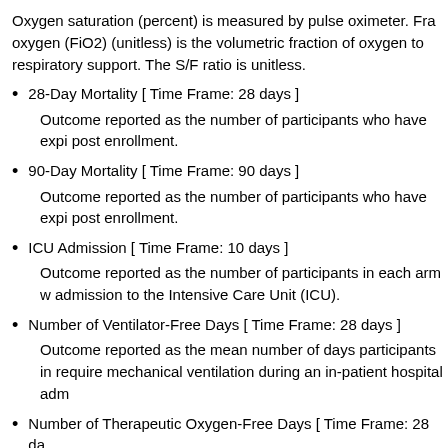Oxygen saturation (percent) is measured by pulse oximeter. Fraction of inspired oxygen (FiO2) (unitless) is the volumetric fraction of oxygen to delivered respiratory support. The S/F ratio is unitless.
28-Day Mortality [ Time Frame: 28 days ]
Outcome reported as the number of participants who have expired post enrollment.
90-Day Mortality [ Time Frame: 90 days ]
Outcome reported as the number of participants who have expired post enrollment.
ICU Admission [ Time Frame: 10 days ]
Outcome reported as the number of participants in each arm who required admission to the Intensive Care Unit (ICU).
Number of Ventilator-Free Days [ Time Frame: 28 days ]
Outcome reported as the mean number of days participants in each arm did not require mechanical ventilation during an in-patient hospital admission.
Number of Therapeutic Oxygen-Free Days [ Time Frame: 28 days ]